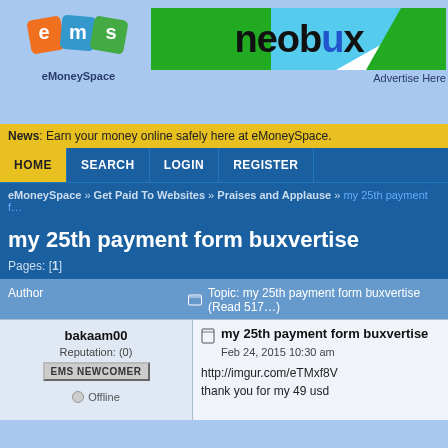[Figure (logo): eMoneySpace logo with colored diamond shapes showing e, m, s letters in orange, blue, and green]
[Figure (logo): Neobux banner advertisement with green and blue diagonal design]
Advertise Here
News: Earn your money online safely here at eMoneySpace.
HOME  SEARCH  LOGIN  REGISTER
eMoneySpace » Get Paid To Websites » Praises and Applause » my 25th payment f…
my 25th payment form buxvertise
Pages: [1]
| Author | Topic: my 25th payment form buxvertise  (Read 517…) |
| --- | --- |
| bakaam00
Reputation: (0)
EMS NEWCOMER
Offline | my 25th payment form buxvertise
Feb 24, 2015 10:30 am

http://imgur.com/eTMxf8V
thank you for my 49 usd |